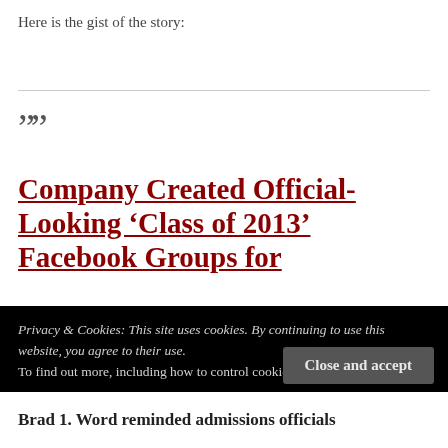Here is the gist of the story:
””
Company Created Official-Looking ‘Class of 2013’ Facebook Groups for
Privacy & Cookies: This site uses cookies. By continuing to use this website, you agree to their use.
To find out more, including how to control cookies, see here: Cookie Policy
Close and accept
Brad 1. Word reminded admissions officials